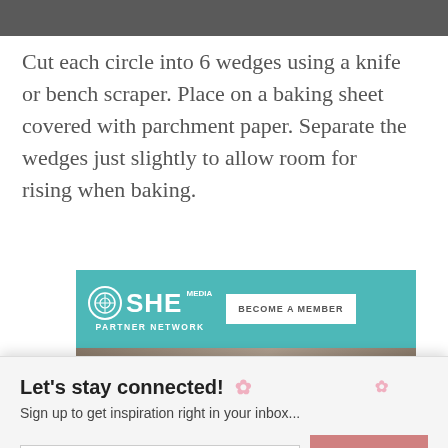[Figure (photo): Top portion of a photo, dark/gray tones, appears to be a wooden or stone surface]
Cut each circle into 6 wedges using a knife or bench scraper. Place on a baking sheet covered with parchment paper. Separate the wedges just slightly to allow room for rising when baking.
[Figure (screenshot): SHE Media Partner Network advertisement banner with teal header showing logo and 'BECOME A MEMBER' button, and a photo of a smiling woman with glasses]
Let's stay connected!
Sign up to get inspiration right in your inbox...
[Email Address input] [Subscribe button]
X CLOSE